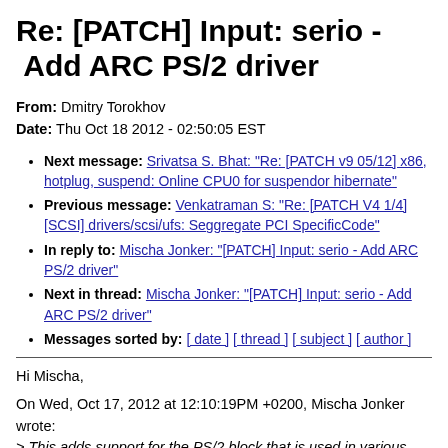Re: [PATCH] Input: serio - Add ARC PS/2 driver
From: Dmitry Torokhov
Date: Thu Oct 18 2012 - 02:50:05 EST
Next message: Srivatsa S. Bhat: "Re: [PATCH v9 05/12] x86, hotplug, suspend: Online CPU0 for suspendor hibernate"
Previous message: Venkatraman S: "Re: [PATCH V4 1/4] [SCSI] drivers/scsi/ufs: Seggregate PCI SpecificCode"
In reply to: Mischa Jonker: "[PATCH] Input: serio - Add ARC PS/2 driver"
Next in thread: Mischa Jonker: "[PATCH] Input: serio - Add ARC PS/2 driver"
Messages sorted by: [ date ] [ thread ] [ subject ] [ author ]
Hi Mischa,
On Wed, Oct 17, 2012 at 12:10:19PM +0200, Mischa Jonker wrote:
> This adds support for the PS/2 block that is used in various ARC